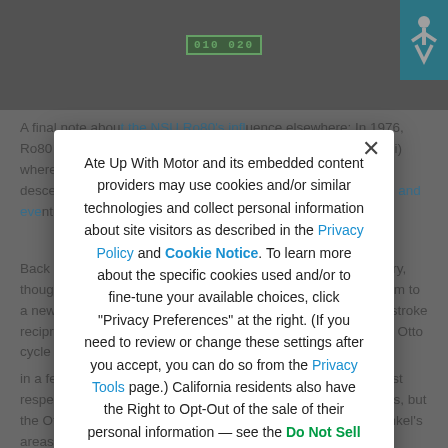[Figure (photo): Background photo of a vehicle with a green license plate reading '010 020', partially obscured. An accessibility icon is visible in the top-right corner on a blue background.]
A final note about the NSU Ro80's influence elsewhere: In 1976, Ro80 designer Claus Luthe left NSU (by then merged with Audi) where he developed the seminal Audi 100 C2, from which descended the 1982 6-Series, the 1982 Audi 100 C3 (Typ 44), and eventually the 1981 8-Series. Luthe later joined BMW... (with permission)
Back in the US, Ford Motor Company also considered the rotary, though ultimately later in-house reliability concerns pointed them to a new engine design to seriously challenge the dominant four-stroke reciprocating (Otto-cycle) format, it was not enough to beat the Otto cycle in a few areas — the newcomer had to be superior in all or most respects. The rotary engine came closer than many challengers, but the Otto cycle was able to close the gap in many of the Wankel's areas of superiority faster than
Ate Up With Motor and its embedded content providers may use cookies and/or similar technologies and collect personal information about site visitors as described in the Privacy Policy and Cookie Notice. To learn more about the specific cookies used and/or to fine-tune your available choices, click "Privacy Preferences" at the right. (If you need to review or change these settings after you accept, you can do so from the Privacy Tools page.) California residents also have the Right to Opt-Out of the sale of their personal information — see the Do Not Sell My Personal Information page.
Privacy Preferences
I Agree